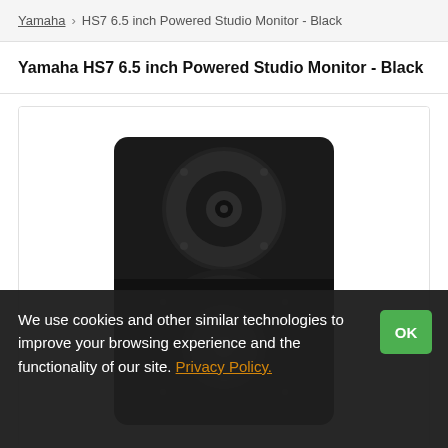Yamaha  HS7 6.5 inch Powered Studio Monitor - Black
Yamaha HS7 6.5 inch Powered Studio Monitor - Black
[Figure (photo): Close-up photo of a Yamaha HS7 black studio monitor speaker showing tweeter and woofer cones against a dark background]
We use cookies and other similar technologies to improve your browsing experience and the functionality of our site. Privacy Policy.